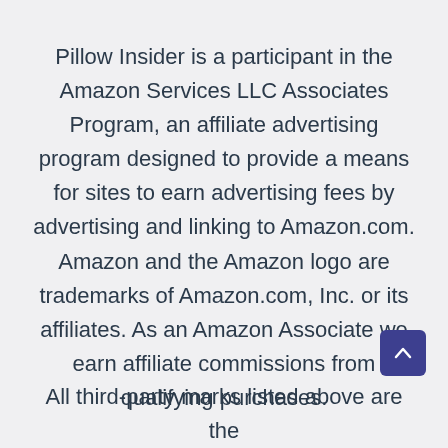Pillow Insider is a participant in the Amazon Services LLC Associates Program, an affiliate advertising program designed to provide a means for sites to earn advertising fees by advertising and linking to Amazon.com. Amazon and the Amazon logo are trademarks of Amazon.com, Inc. or its affiliates. As an Amazon Associate we earn affiliate commissions from qualifying purchases.
All third-party marks listed above are the